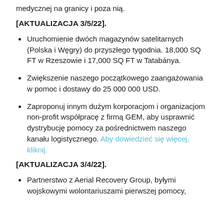medycznej na granicy i poza nią.
[AKTUALIZACJA 3/5/22].
Uruchomienie dwóch magazynów satelitarnych (Polska i Węgry) do przyszłego tygodnia. 18,000 SQ FT w Rzeszowie i 17,000 SQ FT w Tatabánya.
Zwiększenie naszego początkowego zaangażowania w pomoc i dostawy do 25 000 000 USD.
Zaproponuj innym dużym korporacjom i organizacjom non-profit współpracę z firmą GEM, aby usprawnić dystrybucję pomocy za pośrednictwem naszego kanału logistycznego. Aby dowiedzieć się więcej, kliknij.
[AKTUALIZACJA 3/4/22].
Partnerstwo z Aerial Recovery Group, byłymi wojskowymi wolontariuszami pierwszej pomocy,